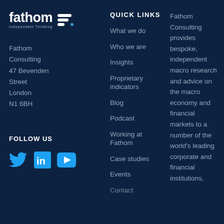[Figure (logo): Fathom Consulting logo with 'fathom' wordmark in white, 'Independent Thinking' tagline, and stylized icon]
Fathom Consulting
47 Bevenden Street
London
N1 6BH
FOLLOW US
[Figure (other): Social media icons: Twitter (bird), LinkedIn (in), YouTube (play button) in blue]
QUICK LINKS
What we do
Who we are
Insights
Proprietary indicators
Blog
Podcast
Working at Fathom
Case studies
Events
Contact
Fathom Consulting provides bespoke, independent macro research and advice on the macro economy and financial markets to a number of the world's leading corporate and financial institutions,